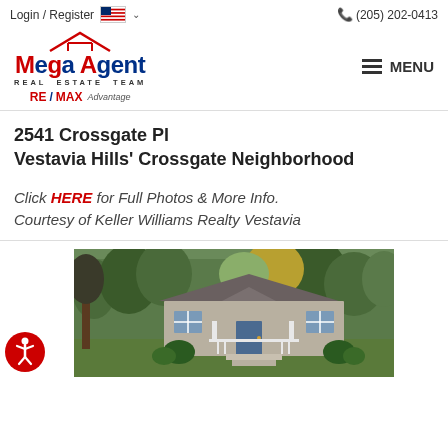Login / Register | (205) 202-0413
[Figure (logo): Mega Agent Real Estate Team RE/MAX Advantage logo with house icon]
2541 Crossgate Pl
Vestavia Hills' Crossgate Neighborhood
Click HERE for Full Photos & More Info.
Courtesy of Keller Williams Realty Vestavia
[Figure (photo): Exterior photo of a single-story house with white porch railing, steps, shrubs, and trees in background at 2541 Crossgate Pl]